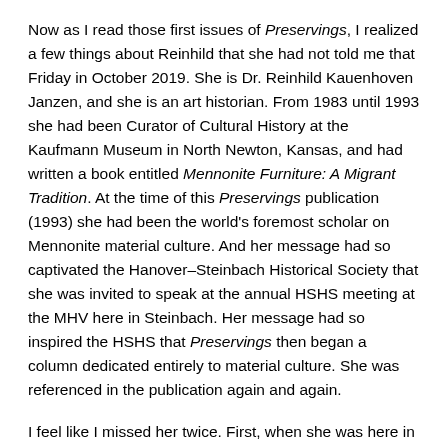Now as I read those first issues of Preservings, I realized a few things about Reinhild that she had not told me that Friday in October 2019. She is Dr. Reinhild Kauenhoven Janzen, and she is an art historian. From 1983 until 1993 she had been Curator of Cultural History at the Kaufmann Museum in North Newton, Kansas, and had written a book entitled Mennonite Furniture: A Migrant Tradition. At the time of this Preservings publication (1993) she had been the world's foremost scholar on Mennonite material culture. And her message had so captivated the Hanover–Steinbach Historical Society that she was invited to speak at the annual HSHS meeting at the MHV here in Steinbach. Her message had so inspired the HSHS that Preservings then began a column dedicated entirely to material culture. She was referenced in the publication again and again.
I feel like I missed her twice. First, when she was here in Steinbach in 1993, provoking and inspiring the local historical society. And then in 2019, when we were squished together at the same tiny table in the crowded faculty pub at the U of W